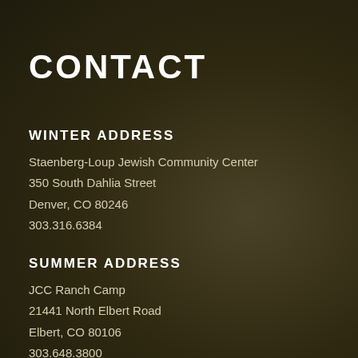CONTACT
WINTER ADDRESS
Staenberg-Loup Jewish Community Center
350 South Dahlia Street
Denver, CO 80246
303.316.6384
SUMMER ADDRESS
JCC Ranch Camp
21441 North Elbert Road
Elbert, CO 80106
303.648.3800